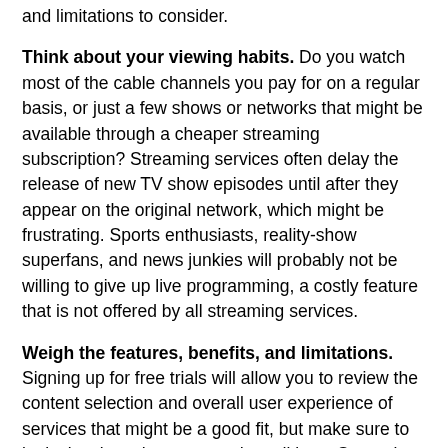and limitations to consider.
Think about your viewing habits. Do you watch most of the cable channels you pay for on a regular basis, or just a few shows or networks that might be available through a cheaper streaming subscription? Streaming services often delay the release of new TV show episodes until after they appear on the original network, which might be frustrating. Sports enthusiasts, reality-show superfans, and news junkies will probably not be willing to give up live programming, a costly feature that is not offered by all streaming services.
Weigh the features, benefits, and limitations. Signing up for free trials will allow you to review the content selection and overall user experience of services that might be a good fit, but make sure to look closely at the terms and conditions. Streaming subscriptions tend to be month-to-month, and you can stream your favorite shows on your mobile phone or tablet anywhere you have an Internet connection. Cable companies do offer a few extra